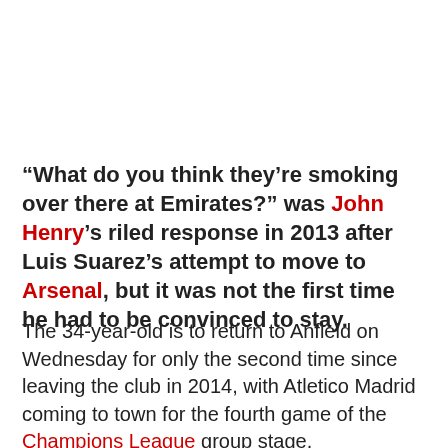“What do you think they’re smoking over there at Emirates?” was John Henry’s riled response in 2013 after Luis Suarez’s attempt to move to Arsenal, but it was not the first time he had to be convinced to stay.
The 34-year-old is to return to Anfield on Wednesday for only the second time since leaving the club in 2014, with Atletico Madrid coming to town for the fourth game of the Champions League group stage.